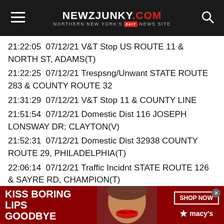NEWZJUNKY.COM — NORTHERN NEW YORK'S 24/7 NEWS SITE
21:22:05  07/12/21 V&T Stop US ROUTE 11 & NORTH ST, ADAMS(T)
21:22:25  07/12/21 Trespsng/Unwant STATE ROUTE 283 & COUNTY ROUTE 32
21:31:29  07/12/21 V&T Stop 11 & COUNTY LINE
21:51:54  07/12/21 Domestic Dist 116 JOSEPH LONSWAY DR; CLAYTON(V)
21:52:31  07/12/21 Domestic Dist 32938 COUNTY ROUTE 29, PHILADELPHIA(T)
22:06:14  07/12/21 Traffic Incidnt STATE ROUTE 126 & SAYRE RD, CHAMPION(T)
22:13:26  07/12/21 V&T Stop STATE ROUTE 342 & JEWETT
[Figure (illustration): Macy's advertisement banner: KISS BORING LIPS GOODBYE with photo of woman with red lips and SHOP NOW button with Macy's star logo]